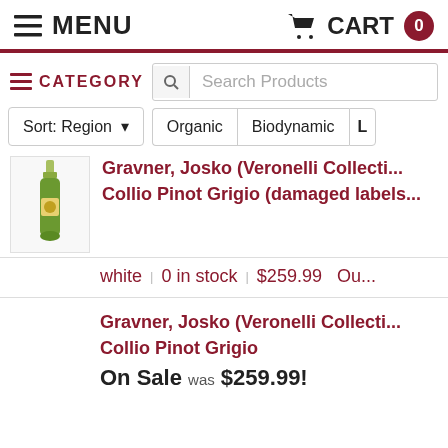≡ MENU   🛒 CART  0
≡ CATEGORY   🔍 Search Products
Sort: Region ▾   Organic   Biodynamic   L
Gravner, Josko (Veronelli Collecti... Collio Pinot Grigio (damaged labels...
white | 0 in stock | $259.99   Ou...
Gravner, Josko (Veronelli Collecti... Collio Pinot Grigio
On Sale ... was $259.99!